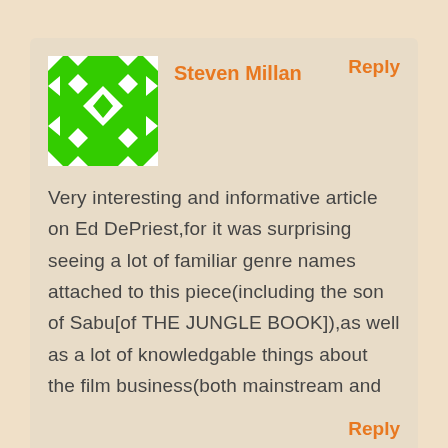[Figure (other): Green pixel/mosaic avatar icon for user Steven Millan]
Reply
Steven Millan
Very interesting and informative article on Ed DePriest,for it was surprising seeing a lot of familiar genre names attached to this piece(including the son of Sabu[of THE JUNGLE BOOK]),as well as a lot of knowledgable things about the film business(both mainstream and adult/porn).
Reply